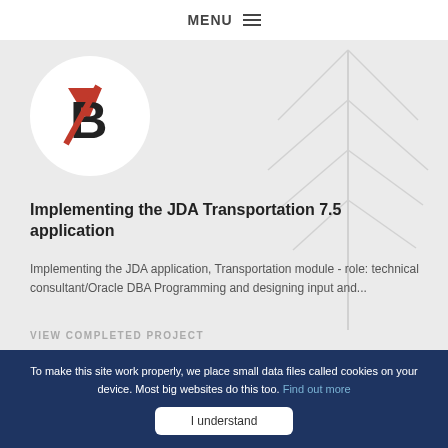MENU ☰
[Figure (logo): Bridgestone B logo — black and red B with diagonal slash inside a white circle]
Implementing the JDA Transportation 7.5 application
Implementing the JDA application, Transportation module - role: technical consultant/Oracle DBA Programming and designing input and...
VIEW COMPLETED PROJECT
To make this site work properly, we place small data files called cookies on your device. Most big websites do this too. Find out more
I understand